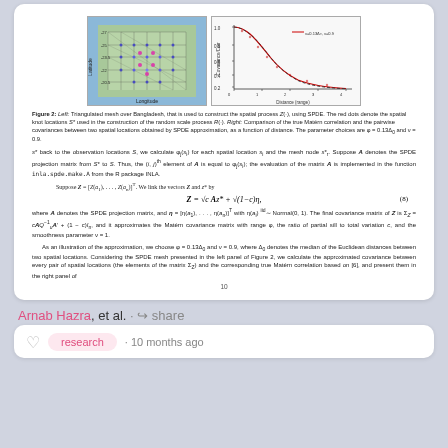[Figure (illustration): Left: Triangulated mesh over Bangladesh used to construct spatial process Z(·) using SPDE. Red dots denote spatial knot locations S* used in construction of the random scale process R(·). Right: Comparison of the true Matérn correlation and pairwise covariances between two spatial locations obtained by SPDE approximation, as a function of distance. Parameter choices are φ=0.13Δ0 and ν=0.9.]
Figure 2: Left: Triangulated mesh over Bangladesh, that is used to construct the spatial process Z(·), using SPDE. The red dots denote the spatial knot locations S* used in the construction of the random scale process R(·). Right: Comparison of the true Matérn correlation and the pairwise covariances between two spatial locations obtained by SPDE approximation, as a function of distance. The parameter choices are φ=0.13Δ0 and ν=0.9.
s* back to the observation locations S, we calculate φs(si) for each spatial location si and the mesh node s*r. Suppose A denotes the SPDE projection matrix from S* to S. Thus, the (i,j)th element of A is equal to φj(si); the evaluation of the matrix A is implemented in the function inla.spde.make.A from the R package INLA.
Suppose Z = [Z(a1),...,Z(an)]T. We link the vectors Z and z* by
Z = √c Az* + √(1−c)η,
where A denotes the SPDE projection matrix, and η = [η(a1),...,η(an)]T with η(ai) iid Normal(0,1). The final covariance matrix of Z is ΣZ = cAQ_u^{-1}A' + (1−c)In, and it approximates the Matérn covariance matrix with range φ, the ratio of partial sill to total variation c, and the smoothness parameter ν = 1.
As an illustration of the approximation, we choose φ = 0.13Δ0 and ν = 0.9, where Δ0 denotes the median of the Euclidean distances between two spatial locations. Considering the SPDE mesh presented in the left panel of Figure 2, we calculate the approximated covariance between every pair of spatial locations (the elements of the matrix ΣZ) and the corresponding true Matérn correlation based on [6], and present them in the right panel of
10
Arnab Hazra, et al. · share
research · 10 months ago